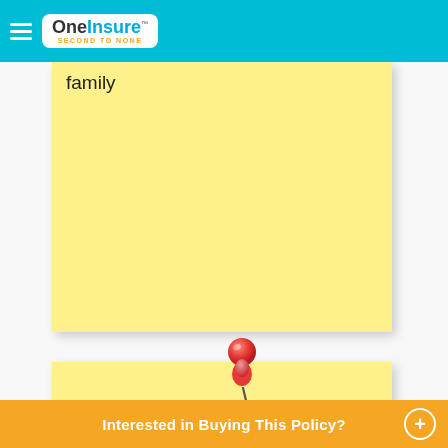[Figure (logo): OneInsure logo with 'SECOND TO NONE' tagline on cyan header bar with hamburger menu icon]
[Figure (illustration): Yellow sticky note (top) partially visible with text 'family' at top]
family
[Figure (illustration): Red push pin stuck between two yellow sticky notes]
[Figure (illustration): Yellow sticky note (bottom) with text 'Cover for trips of different durations']
Cover for trips of different durations
Interested in Buying This Policy?